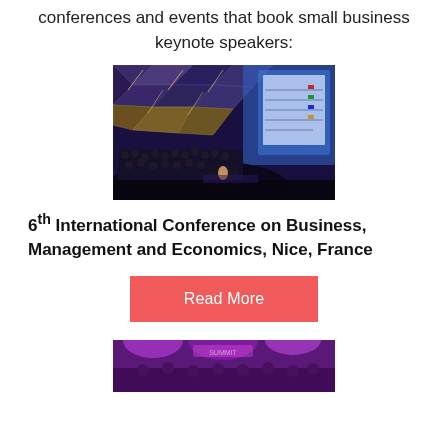conferences and events that book small business keynote speakers:
[Figure (photo): Conference hall with audience seated in a tiered, dome-shaped auditorium with geometric metallic ceiling panels and blue lighting, a large presentation screen visible at the front.]
6th International Conference on Business, Management and Economics, Nice, France
Read More
[Figure (photo): Partial bottom image of another conference or event scene, partially cut off.]